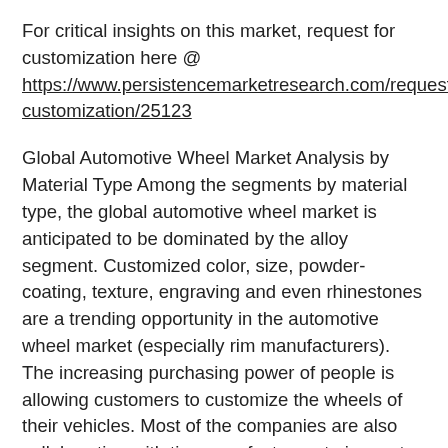For critical insights on this market, request for customization here @ https://www.persistencemarketresearch.com/request-customization/25123
Global Automotive Wheel Market Analysis by Material Type Among the segments by material type, the global automotive wheel market is anticipated to be dominated by the alloy segment. Customized color, size, powder-coating, texture, engraving and even rhinestones are a trending opportunity in the automotive wheel market (especially rim manufacturers). The increasing purchasing power of people is allowing customers to customize the wheels of their vehicles. Most of the companies are also collaborating with tire manufacturers to innovate their technologies. For instance, RIMEX is collaborating with leading tire manufacturers in testing and perfecting future wheel and rim